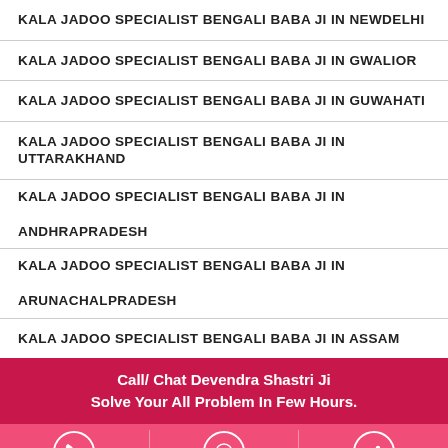KALA JADOO SPECIALIST BENGALI BABA JI IN NEWDELHI
KALA JADOO SPECIALIST BENGALI BABA JI IN GWALIOR
KALA JADOO SPECIALIST BENGALI BABA JI IN GUWAHATI
KALA JADOO SPECIALIST BENGALI BABA JI IN UTTARAKHAND
KALA JADOO SPECIALIST BENGALI BABA JI IN ANDHRAPRADESH
KALA JADOO SPECIALIST BENGALI BABA JI IN ARUNACHALPRADESH
KALA JADOO SPECIALIST BENGALI BABA JI IN ASSAM
KALA JADOO SPECIALIST BENGALI BABA JI IN BIHAR
Call/ Chat Devendra Shastri Ji
Solve Your All Problem In Few Hours.
[Figure (infographic): Bottom action bar with phone, WhatsApp, and share icons in white on pink background]